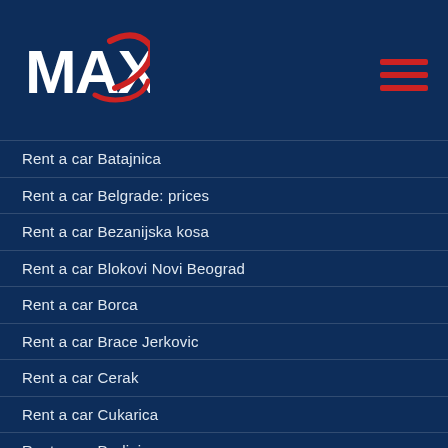MAX rent a car logo and navigation menu
Rent a car Batajnica
Rent a car Belgrade: prices
Rent a car Bezanijska kosa
Rent a car Blokovi Novi Beograd
Rent a car Borca
Rent a car Brace Jerkovic
Rent a car Cerak
Rent a car Cukarica
Rent a car Dedinje
Rent a car Dorcol
Rent a car Dusanovac
Rent a car Golf naselje
Rent a car Julino brdo
Rent a car Kanarevo brdo
Rent a car Karaburma
Rent a car Konjarnik
Rent a car Kosutnjak
Rent a car Kotez